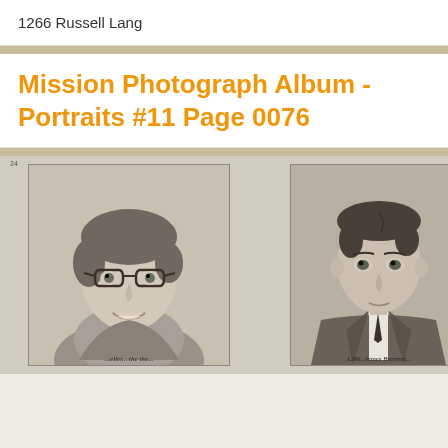1266 Russell Lang
Mission Photograph Album - Portraits #11 Page 0076
[Figure (photo): Two black-and-white portrait photographs. Left: a young woman wearing cat-eye glasses, smiling, with short wavy hair. Right: a young man in a suit and tie with neatly combed dark hair, looking straight ahead. Handwritten captions appear below each photo.]